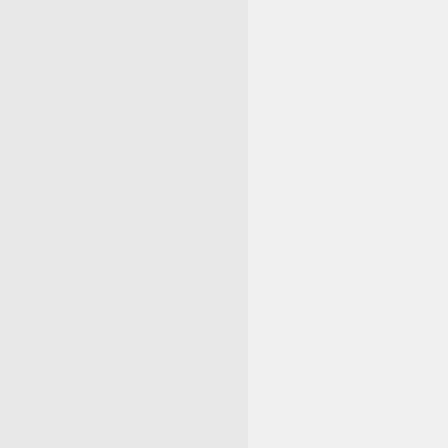...
# optional but included
$ scp packages/*.rpm pac
...
Here we're assuming the repos any other VCS.
Now, to automate this, we creat step can be a shell command o various types for different repos
from buildbot.plugins im

# first, let's create th

# step 1: make clean; th
# is harmless and will o
makeclean = steps.ShellCo


# step 2: svn update...